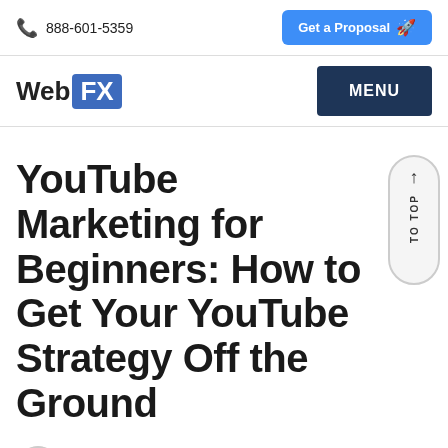📞 888-601-5359 | Get a Proposal
WebFX | MENU
YouTube Marketing for Beginners: How to Get Your YouTube Strategy Off the Ground
By Jessica Bonnier  August 31, 2021